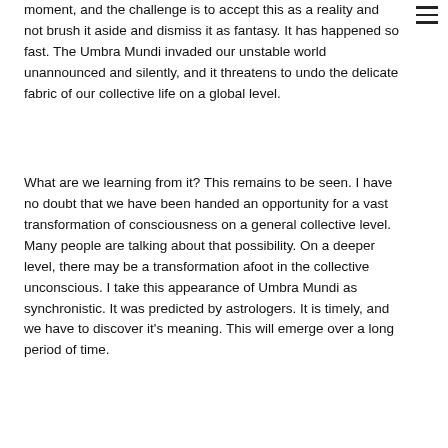moment, and the challenge is to accept this as a reality and not brush it aside and dismiss it as fantasy. It has happened so fast. The Umbra Mundi invaded our unstable world unannounced and silently, and it threatens to undo the delicate fabric of our collective life on a global level.
What are we learning from it? This remains to be seen. I have no doubt that we have been handed an opportunity for a vast transformation of consciousness on a general collective level. Many people are talking about that possibility. On a deeper level, there may be a transformation afoot in the collective unconscious. I take this appearance of Umbra Mundi as synchronistic. It was predicted by astrologers. It is timely, and we have to discover it's meaning. This will emerge over a long period of time.